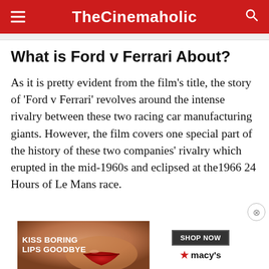TheCinemaholic
What is Ford v Ferrari About?
As it is pretty evident from the film's title, the story of 'Ford v Ferrari' revolves around the intense rivalry between these two racing car manufacturing giants. However, the film covers one special part of the history of these two companies' rivalry which erupted in the mid-1960s and eclipsed at the1966 24 Hours of Le Mans race.
[Figure (screenshot): Macy's advertisement banner: 'KISS BORING LIPS GOODBYE' with a woman's face with red lips, and a 'SHOP NOW' button with the Macy's star logo]